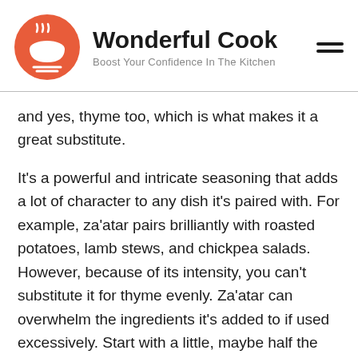[Figure (logo): Wonderful Cook website logo: orange circle with steam and bowl icon, site name 'Wonderful Cook' and tagline 'Boost Your Confidence In The Kitchen']
and yes, thyme too, which is what makes it a great substitute.
It’s a powerful and intricate seasoning that adds a lot of character to any dish it’s paired with. For example, za’atar pairs brilliantly with roasted potatoes, lamb stews, and chickpea salads. However, because of its intensity, you can’t substitute it for thyme evenly. Za’atar can overwhelm the ingredients it’s added to if used excessively. Start with a little, maybe half the amount you’d add, and add more as per your taste